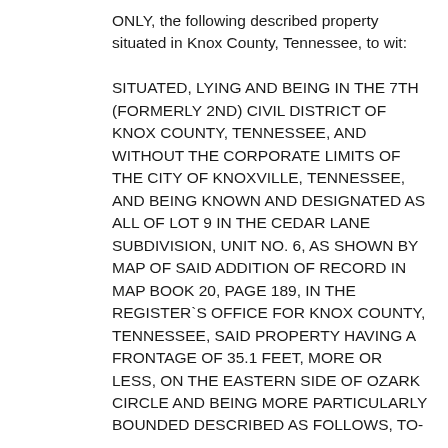ONLY, the following described property situated in Knox County, Tennessee, to wit:

SITUATED, LYING AND BEING IN THE 7TH (FORMERLY 2ND) CIVIL DISTRICT OF KNOX COUNTY, TENNESSEE, AND WITHOUT THE CORPORATE LIMITS OF THE CITY OF KNOXVILLE, TENNESSEE, AND BEING KNOWN AND DESIGNATED AS ALL OF LOT 9 IN THE CEDAR LANE SUBDIVISION, UNIT NO. 6, AS SHOWN BY MAP OF SAID ADDITION OF RECORD IN MAP BOOK 20, PAGE 189, IN THE REGISTER`S OFFICE FOR KNOX COUNTY, TENNESSEE, SAID PROPERTY HAVING A FRONTAGE OF 35.1 FEET, MORE OR LESS, ON THE EASTERN SIDE OF OZARK CIRCLE AND BEING MORE PARTICULARLY BOUNDED DESCRIBED AS FOLLOWS, TO-WIT: BEGINNING AT A POINT IN THE EASTERN LINE OF OZARK CIRCLE, SAID POINT OF BEGINNING